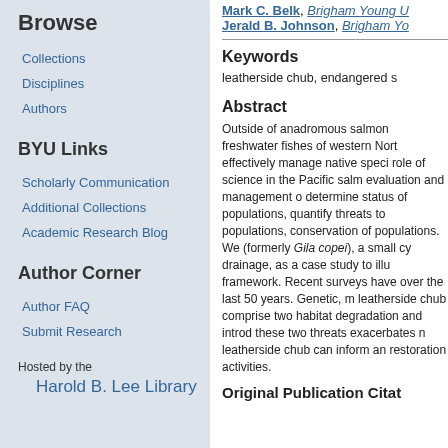Browse
Collections
Disciplines
Authors
BYU Links
Scholarly Communication
Additional Collections
Academic Research Blog
Author Corner
Author FAQ
Submit Research
Hosted by the Harold B. Lee Library
Mark C. Belk, Brigham Young U
Jerald B. Johnson, Brigham Yo
Keywords
leatherside chub, endangered s
Abstract
Outside of anadromous salmon freshwater fishes of western Nort effectively manage native speci role of science in the Pacific salm evaluation and management o determine status of populations, quantify threats to populations, conservation of populations. We (formerly Gila copei), a small cy drainage, as a case study to illu framework. Recent surveys have over the last 50 years. Genetic, m leatherside chub comprise two habitat degradation and introd these two threats exacerbates n leatherside chub can inform an restoration activities.
Original Publication Citat